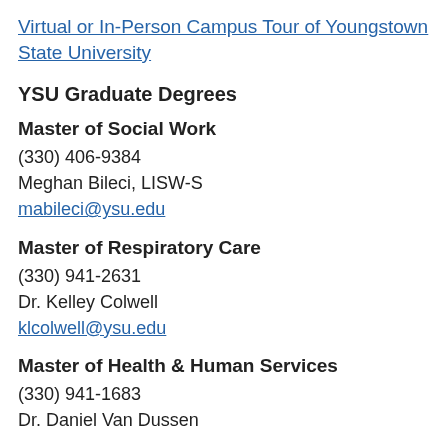Virtual or In-Person Campus Tour of Youngstown State University
YSU Graduate Degrees
Master of Social Work
(330) 406-9384
Meghan Bileci, LISW-S
mabileci@ysu.edu
Master of Respiratory Care
(330) 941-2631
Dr. Kelley Colwell
klcolwell@ysu.edu
Master of Health & Human Services
(330) 941-1683
Dr. Daniel Van Dussen